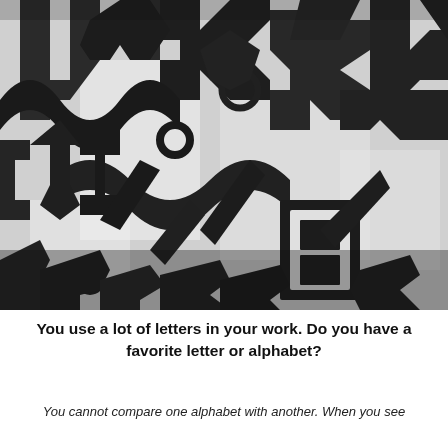[Figure (photo): Black and white photograph of a large sculptural installation made of interlocking metal letters and alphabetic characters from various scripts, creating a dense tangled three-dimensional mass against a light background.]
You use a lot of letters in your work. Do you have a favorite letter or alphabet?
You cannot compare one alphabet with another. When you see